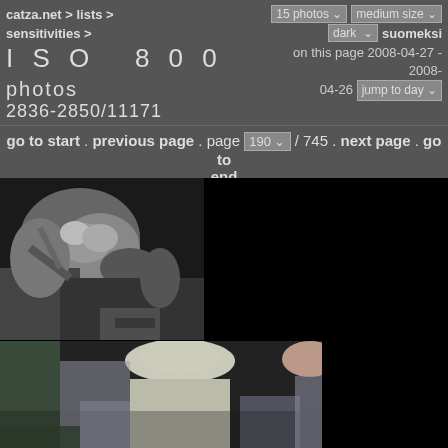catza.net > lists > sensitivities > ISO 800 photos 2836-2850/11171 | 15 photos | medium size | dark | suomeksi | on this page 2008-04-27 - 2008-04-26 | jump to day
go to start . previous page . page 190 / 745 . next page . go to end
[Figure (photo): Black and white photo of hands holding a cat being examined at what appears to be a cat show]
[Figure (photo): Color photo of two women at a cat show, one showing a cat to the other, people visible in background]